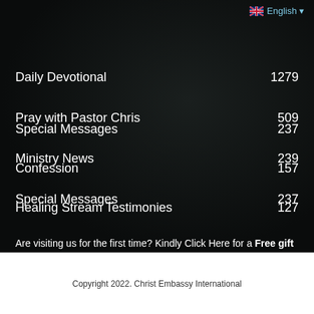English
Daily Devotional 1279
Pray with Pastor Chris 509
Ministry News 239
Special Messages 237
Confession 157
Healing Stream Testimonies 127
Are visiting us for the first time? Kindly Click Here for a Free gift from Pastor Chris.
Copyright 2022. Christ Embassy International